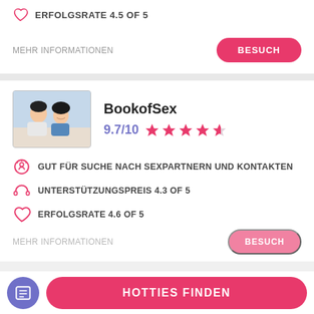ERFOLGSRATE 4.5 of 5
MEHR INFORMATIONEN
BESUCH
BookofSex
9.7/10 ★★★★☆
GUT FÜR Suche nach Sexpartnern und Kontakten
UNTERSTÜTZUNGSPREIS 4.3 of 5
ERFOLGSRATE 4.6 of 5
MEHR INFORMATIONEN
BESUCH
HOTTIES FINDEN